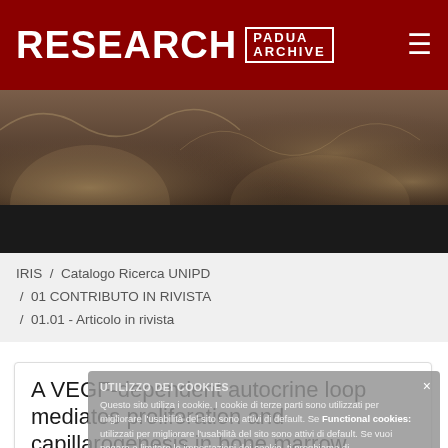RESEARCH PADUA ARCHIVE
[Figure (photo): Banner image showing a fresco/ceiling painting in muted dark tones]
IRIS / Catalogo Ricerca UNIPD / 01 CONTRIBUTO IN RIVISTA / 01.01 - Articolo in rivista
A VEGF-dependent autocrine loop mediates proliferation and capillarogenesis in bone marrow endothelial cells of patients with multiple myeloma
UTILIZZO DEI COOKIES
Questo sito utilizza i cookie. I cookie di terze parti sono utilizzati per migliorare l'usabilità del sito sono attivi di default. Se vuoi negare o limitare le impostazioni dei cookie, ti preghiamo di farlo cliccando sull'apposito link presente su questa faccia. sempre presente a piè di pagina. Utilizzo dei cookie. Functional cookies: utilizzati per migliorare l'usabilità del sito sono attivi di default.